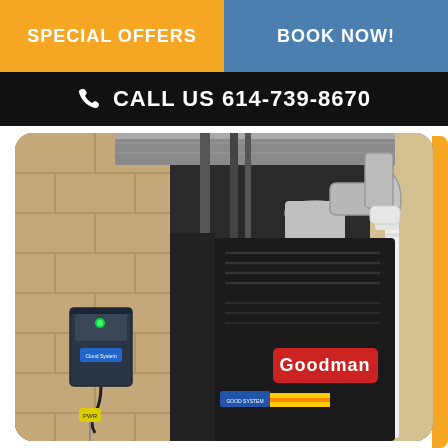SPECIAL OFFERS
BOOK NOW!
CALL US 614-739-8670
[Figure (photo): A Goodman brand gas furnace installed in a basement utility room with metal exhaust flue, PVC pipes, and a small wall-mounted electronic device (likely a filter system) with a green indicator light. The furnace is black and features the Goodman brand logo on the front panel. Various wiring and yellow connector cables are visible.]